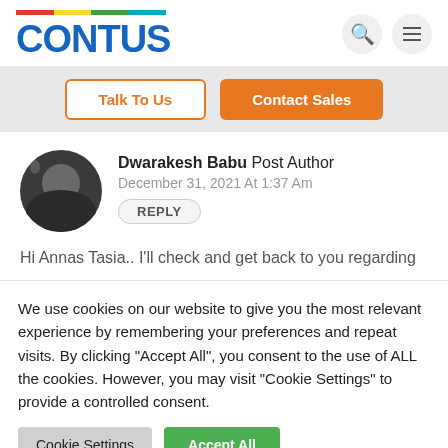[Figure (logo): CONTUS logo with colored bar (red, yellow, green, teal) above the blue bold text 'CONTUS']
Dwarakesh Babu Post Author
December 31, 2021 At 1:37 Am
REPLY
Hi Annas Tasia.. I'll check and get back to you regarding
We use cookies on our website to give you the most relevant experience by remembering your preferences and repeat visits. By clicking "Accept All", you consent to the use of ALL the cookies. However, you may visit "Cookie Settings" to provide a controlled consent.